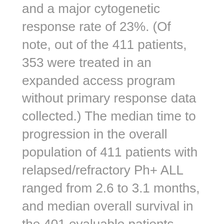and a major cytogenetic response rate of 23%. (Of note, out of the 411 patients, 353 were treated in an expanded access program without primary response data collected.) The median time to progression in the overall population of 411 patients with relapsed/refractory Ph+ ALL ranged from 2.6 to 3.1 months, and median overall survival in the 401 evaluable patients ranged from 4.9 to 9 months. The data was similar when re-analysed to include only those patients age 55 or older.
Clinical studies in MDS/MPD
Experience with Imatinib in this indication is very limited and is based on haematological and cytogenetic response rates. There are no controlled trials demonstrating a clinical benefit or increased